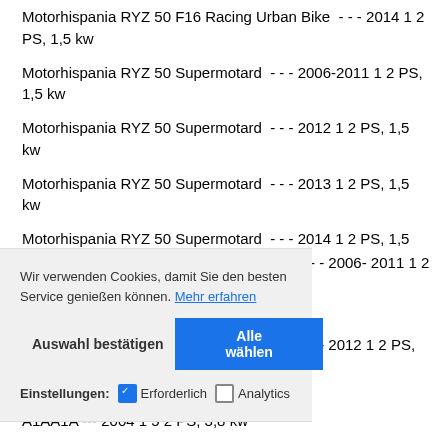Motorhispania RYZ 50 F16 Racing Urban Bike  - - - 2014 1 2 PS, 1,5 kw
Motorhispania RYZ 50 Supermotard  - - - 2006-2011 1 2 PS, 1,5 kw
Motorhispania RYZ 50 Supermotard  - - - 2012 1 2 PS, 1,5 kw
Motorhispania RYZ 50 Supermotard  - - - 2013 1 2 PS, 1,5 kw
Motorhispania RYZ 50 Supermotard  - - - 2014 1 2 PS, 1,5 kw
Wir verwenden Cookies, damit Sie den besten Service genießen können. Mehr erfahren
Auswahl bestätigen   Alle wählen
Einstellungen:   Erforderlich   Analytics
- - - 2006- 2011 1 2
- - - 2012 1 2 PS,
A1AA1A --- 2004 1 5 2 PS, 3.8 kw